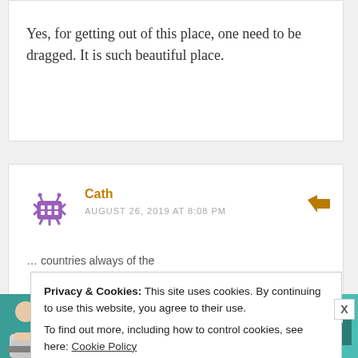Yes, for getting out of this place, one need to be dragged. It is such beautiful place.
Cath
AUGUST 26, 2019 AT 8:08 PM
...countries always of the
Privacy & Cookies: This site uses cookies. By continuing to use this website, you agree to their use.
To find out more, including how to control cookies, see here: Cookie Policy
[Figure (infographic): SHE Media Partner Network advertisement banner with text 'We Help Content Creators Grow Businesses Through...' and a Learn More button]